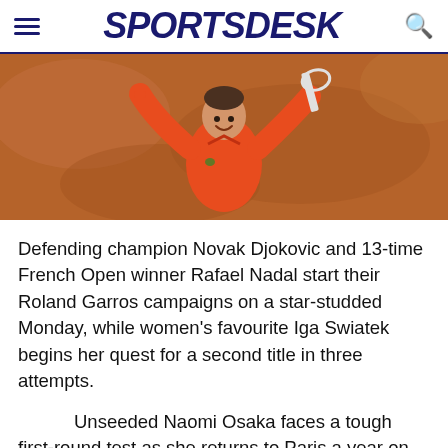SPORTSDESK
[Figure (photo): Novak Djokovic in an orange shirt celebrating on a clay tennis court, arms raised, smiling]
Defending champion Novak Djokovic and 13-time French Open winner Rafael Nadal start their Roland Garros campaigns on a star-studded Monday, while women’s favourite Iga Swiatek begins her quest for a second title in three attempts.
Unseeded Naomi Osaka faces a tough first-round test as she returns to Paris a year on from her dramatic withdrawal after she was fined and threatened with a Grand Slam ban for refusing to